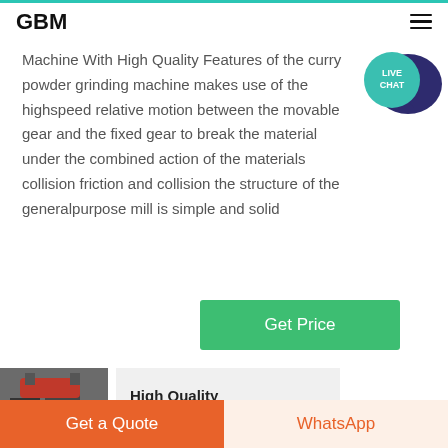GBM
Machine With High Quality Features of the curry powder grinding machine makes use of the highspeed relative motion between the movable gear and the fixed gear to break the material under the combined action of the materials collision friction and collision the structure of the generalpurpose mill is simple and solid
Get Price
[Figure (illustration): Live Chat speech bubble icon with teal/dark purple colors and 'LIVE CHAT' text]
[Figure (photo): Industrial graphite mining machine equipment]
High Quality Graphite Mining
Get a Quote
WhatsApp